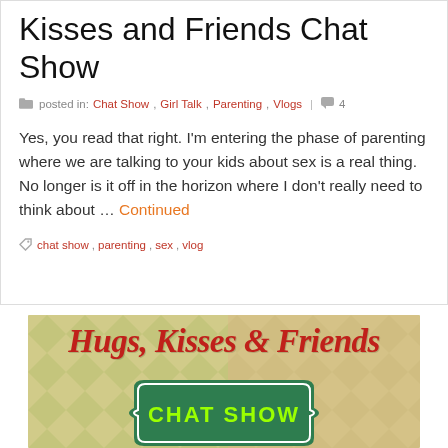Kisses and Friends Chat Show
posted in: Chat Show, Girl Talk, Parenting, Vlogs | 4
Yes, you read that right. I'm entering the phase of parenting where we are talking to your kids about sex is a real thing. No longer is it off in the horizon where I don't really need to think about … Continued
chat show, parenting, sex, vlog
[Figure (illustration): Banner image for 'Hugs, Kisses & Friends Chat Show' with decorative diamond/harlequin pattern background in green and tan tones, large red cursive title text, and a green badge shape with 'CHAT SHOW' text in bright green letters]